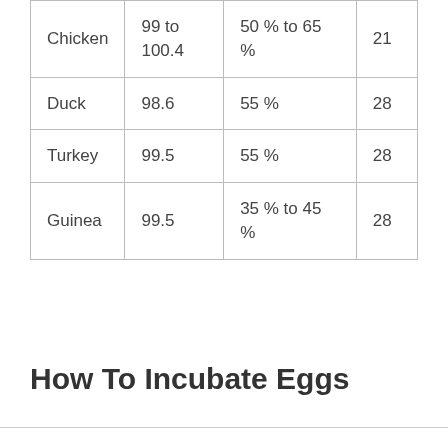| Chicken | 99 to 100.4 | 50 % to 65 % | 21 |
| Duck | 98.6 | 55 % | 28 |
| Turkey | 99.5 | 55 % | 28 |
| Guinea | 99.5 | 35 % to 45 % | 28 |
How To Incubate Eggs